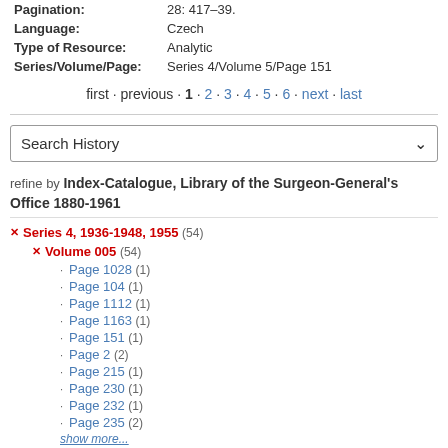| Pagination: | 28: 417–39. |
| Language: | Czech |
| Type of Resource: | Analytic |
| Series/Volume/Page: | Series 4/Volume 5/Page 151 |
first · previous · 1 · 2 · 3 · 4 · 5 · 6 · next · last
Search History
refine by Index-Catalogue, Library of the Surgeon-General's Office 1880-1961
× Series 4, 1936-1948, 1955 (54)
× Volume 005 (54)
· Page 1028 (1)
· Page 104 (1)
· Page 1112 (1)
· Page 1163 (1)
· Page 151 (1)
· Page 2 (2)
· Page 215 (1)
· Page 230 (1)
· Page 232 (1)
· Page 235 (2)
show more...
refine by Index-Catalogue: Type of Resource